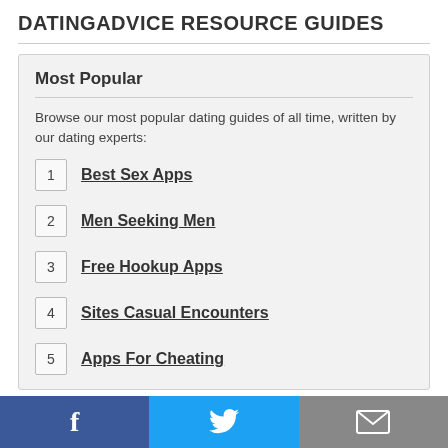DATINGADVICE RESOURCE GUIDES
Most Popular
Browse our most popular dating guides of all time, written by our dating experts:
1 Best Sex Apps
2 Men Seeking Men
3 Free Hookup Apps
4 Sites Casual Encounters
5 Apps For Cheating
Featured Today